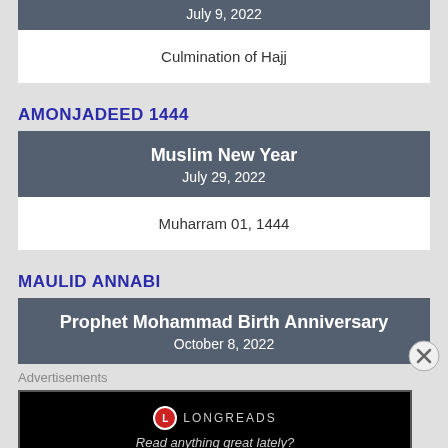July 9, 2022
Culmination of Hajj
AMONJADEED 1444
Muslim New Year
July 29, 2022
Muharram 01, 1444
MAULID ANNABI
Prophet Mohammad Birth Anniversary
October 8, 2022
Advertisements
[Figure (other): Longreads advertisement banner with logo and tagline 'Read anything great lately?']